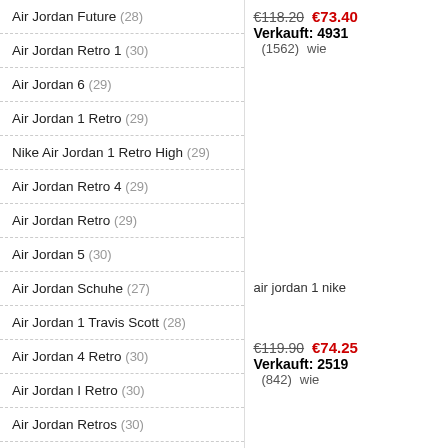Air Jordan Future (28)
Air Jordan Retro 1 (30)
Air Jordan 6 (29)
Air Jordan 1 Retro (29)
Nike Air Jordan 1 Retro High (29)
Air Jordan Retro 4 (29)
Air Jordan Retro (29)
Air Jordan 5 (30)
Air Jordan Schuhe (27)
Air Jordan 1 Travis Scott (28)
Air Jordan 4 Retro (30)
Air Jordan I Retro (30)
Air Jordan Retros (30)
Air Jordan 1 High (30)
Air Jordan Retro 11 (27)
€118.20  €73.40  Verkauft: 4931  (1562)  wie
air jordan 1 nike
€119.90  €74.25  Verkauft: 2519  (842)  wie